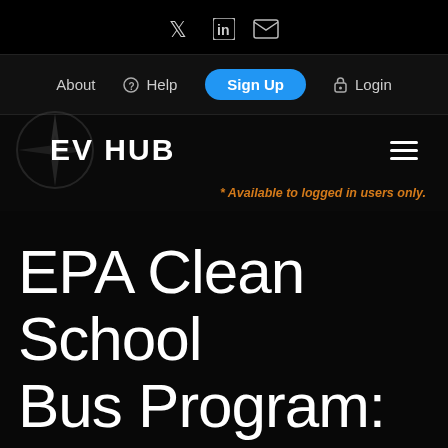Twitter LinkedIn Email social icons
About  Help  Sign Up  Login navigation
[Figure (logo): EV HUB logo with compass rose icon and hamburger menu]
* Available to logged in users only.
EPA Clean School Bus Program: 2022 Clean School B…